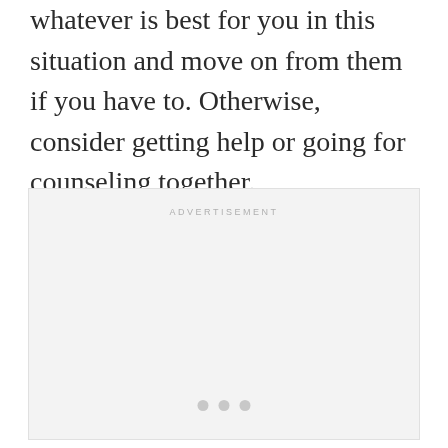whatever is best for you in this situation and move on from them if you have to. Otherwise, consider getting help or going for counseling together.
[Figure (other): Advertisement placeholder box with 'ADVERTISEMENT' label at top center and three small dots at the bottom center.]